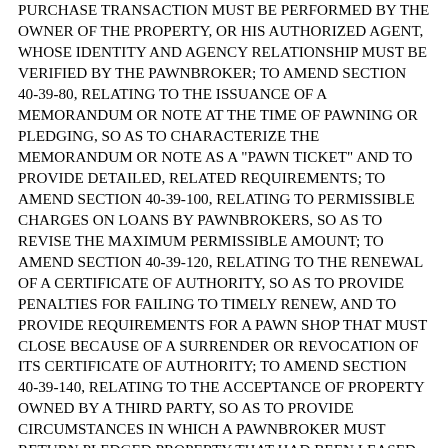PURCHASE TRANSACTION MUST BE PERFORMED BY THE OWNER OF THE PROPERTY, OR HIS AUTHORIZED AGENT, WHOSE IDENTITY AND AGENCY RELATIONSHIP MUST BE VERIFIED BY THE PAWNBROKER; TO AMEND SECTION 40-39-80, RELATING TO THE ISSUANCE OF A MEMORANDUM OR NOTE AT THE TIME OF PAWNING OR PLEDGING, SO AS TO CHARACTERIZE THE MEMORANDUM OR NOTE AS A "PAWN TICKET" AND TO PROVIDE DETAILED, RELATED REQUIREMENTS; TO AMEND SECTION 40-39-100, RELATING TO PERMISSIBLE CHARGES ON LOANS BY PAWNBROKERS, SO AS TO REVISE THE MAXIMUM PERMISSIBLE AMOUNT; TO AMEND SECTION 40-39-120, RELATING TO THE RENEWAL OF A CERTIFICATE OF AUTHORITY, SO AS TO PROVIDE PENALTIES FOR FAILING TO TIMELY RENEW, AND TO PROVIDE REQUIREMENTS FOR A PAWN SHOP THAT MUST CLOSE BECAUSE OF A SURRENDER OR REVOCATION OF ITS CERTIFICATE OF AUTHORITY; TO AMEND SECTION 40-39-140, RELATING TO THE ACCEPTANCE OF PROPERTY OWNED BY A THIRD PARTY, SO AS TO PROVIDE CIRCUMSTANCES IN WHICH A PAWNBROKER MUST RETURN PLEDGED PROPERTY THAT HAD BEEN LEASED BY A SELLER OR PLEDGOR TO THE LESSOR OF THE PROPERTY, AND TO PROVIDE A PAWNBROKER IS NOT LIABLE TO THE PLEDGOR OR SELLER OF PROPERTY